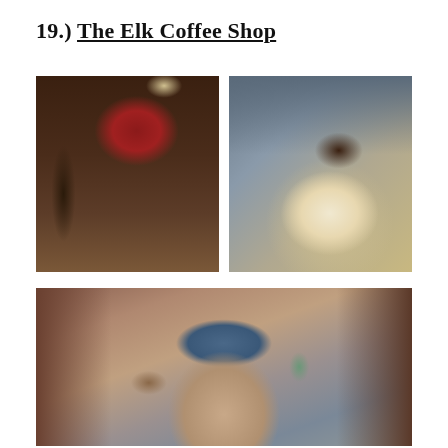19.) The Elk Coffee Shop
[Figure (photo): Barista wearing a red knit beanie and dark shirt working at an espresso machine inside a coffee shop, with a menu board visible in the background]
[Figure (photo): Close-up of hands with henna tattoo stirring a latte art coffee in a white cup on a saucer, placed on a wooden surface]
[Figure (photo): Young woman wearing a blue Carhartt baseball cap outdoors on a city street with brick buildings in the background]